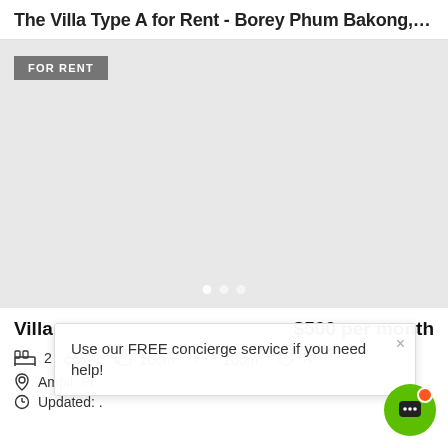The Villa Type A for Rent - Borey Phum Bakong, Siem ...
[Figure (photo): Property listing image area (grey placeholder) with FOR RENT badge and carousel dots]
Villa   $500 per month
2  2  100m²  100m²  N
Ampil, Pr
Updated: .
Use our FREE concierge service if you need help!